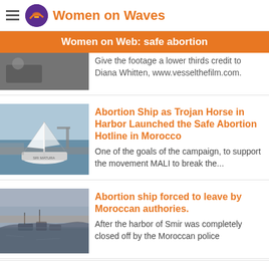Women on Waves
Women on Web: safe abortion
Give the footage a lower thirds credit to Diana Whitten, www.vesselthefilm.com.
Abortion Ship as Trojan Horse in Harbor Launched the Safe Abortion Hotline in Morocco
One of the goals of the campaign, to support the movement MALI to break the...
Abortion ship forced to leave by Moroccan authories.
After the harbor of Smir was completely closed off by the Moroccan police